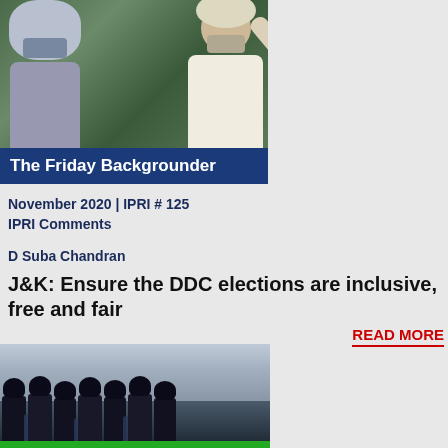[Figure (photo): Two people wearing face masks outdoors, woman in headscarf on left, man in white kurta pulling down mask on right, green foliage background]
The Friday Backgrounder
November 2020 | IPRI # 125
IPRI Comments
D Suba Chandran
J&K: Ensure the DDC elections are inclusive, free and fair
READ MORE
[Figure (photo): Riot police in dark uniforms and helmets with shields, smoke in background]